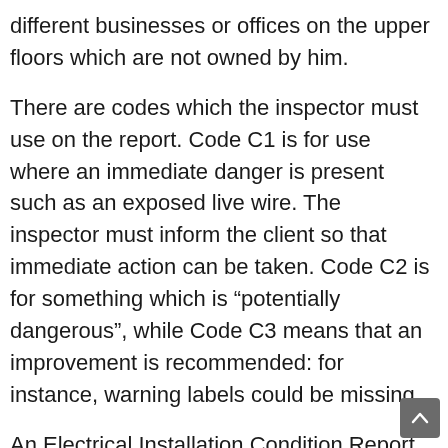different businesses or offices on the upper floors which are not owned by him.
There are codes which the inspector must use on the report. Code C1 is for use where an immediate danger is present such as an exposed live wire. The inspector must inform the client so that immediate action can be taken. Code C2 is for something which is “potentially dangerous”, while Code C3 means that an improvement is recommended: for instance, warning labels could be missing.
An Electrical Installation Condition Report is a complete check of your wiring, fuses, switchboards, sockets, and so on, together with anything that is directly wired into the system – i.e. without a plug – such as an electric cooker, heated towel rail, etc.